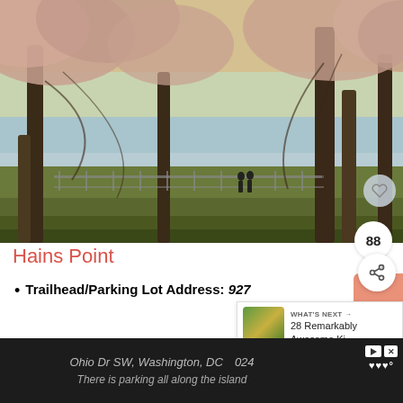[Figure (photo): Cherry blossom trees along the waterfront at Hains Point, Washington DC. Two silhouetted figures walk near a railing by the Tidal Basin. Warm golden-hour light filters through pink blossoms.]
Hains Point
Trailhead/Parking Lot Address: 927
Ohio Dr SW, Washington, DC 024
There is parking all along the island